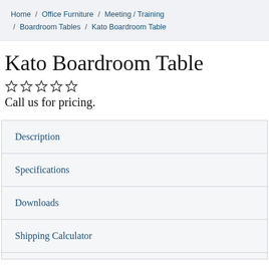Home / Office Furniture / Meeting / Training / Boardroom Tables / Kato Boardroom Table
Kato Boardroom Table
☆☆☆☆☆
Call us for pricing.
Description
Specifications
Downloads
Shipping Calculator